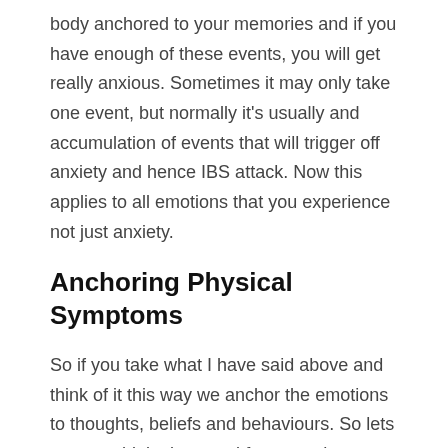body anchored to your memories and if you have enough of these events, you will get really anxious. Sometimes it may only take one event, but normally it's usually and accumulation of events that will trigger off anxiety and hence IBS attack. Now this applies to all emotions that you experience not just anxiety.
Anchoring Physical Symptoms
So if you take what I have said above and think of it this way we anchor the emotions to thoughts, beliefs and behaviours. So lets say you think about and focus on the symptoms of the IBS as you do this you are actually anchoring whatever emotions your experiencing at that moment to that part of the body but also those physical symptoms. Now over time you will anchor more and